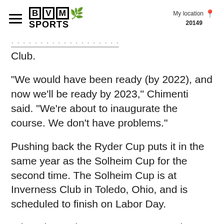BVM SPORTS | My location 20149
Club.
“We would have been ready (by 2022), and now we’ll be ready by 2023,” Chimenti said. “We’re about to inaugurate the course. We don’t have problems.”
Pushing back the Ryder Cup puts it in the same year as the Solheim Cup for the second time. The Solheim Cup is at Inverness Club in Toledo, Ohio, and is scheduled to finish on Labor Day.
When the Ryder Cup was postponed because of the Sept. 11 terrorist attacks, that meant the